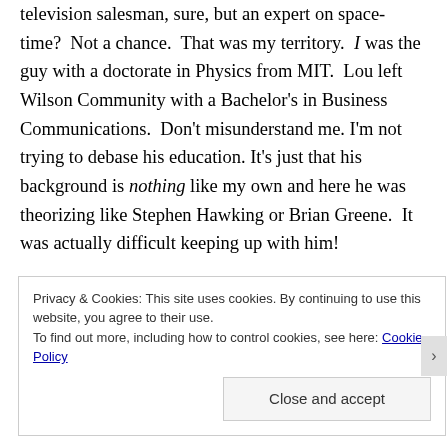television salesman, sure, but an expert on space-time?  Not a chance.  That was my territory.  I was the guy with a doctorate in Physics from MIT.  Lou left Wilson Community with a Bachelor's in Business Communications.  Don't misunderstand me.  I'm not trying to debase his education. It's just that his background is nothing like my own and here he was theorizing like Stephen Hawking or Brian Greene.  It was actually difficult keeping up with him!
The lighting in his living room was low that
Privacy & Cookies: This site uses cookies. By continuing to use this website, you agree to their use.
To find out more, including how to control cookies, see here: Cookie Policy
Close and accept